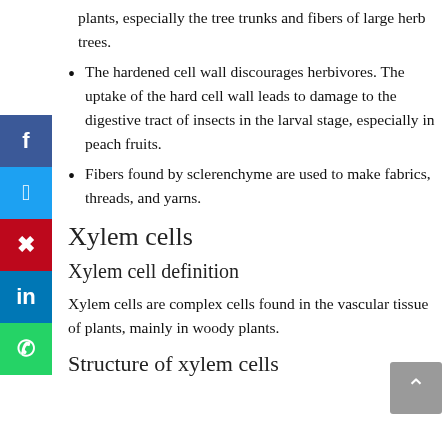plants, especially the tree trunks and fibers of large herb trees.
The hardened cell wall discourages herbivores. The uptake of the hard cell wall leads to damage to the digestive tract of insects in the larval stage, especially in peach fruits.
Fibers found by sclerenchyme are used to make fabrics, threads, and yarns.
Xylem cells
Xylem cell definition
Xylem cells are complex cells found in the vascular tissue of plants, mainly in woody plants.
Structure of xylem cells